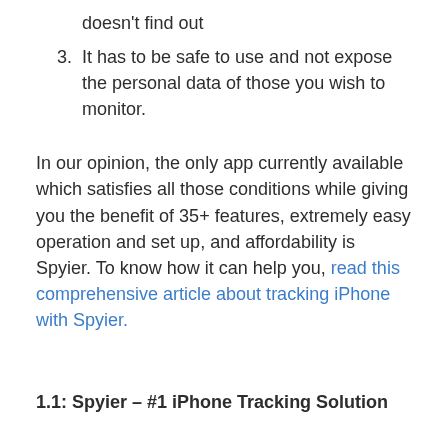doesn't find out
3. It has to be safe to use and not expose the personal data of those you wish to monitor.
In our opinion, the only app currently available which satisfies all those conditions while giving you the benefit of 35+ features, extremely easy operation and set up, and affordability is Spyier. To know how it can help you, read this comprehensive article about tracking iPhone with Spyier.
1.1: Spyier – #1 iPhone Tracking Solution